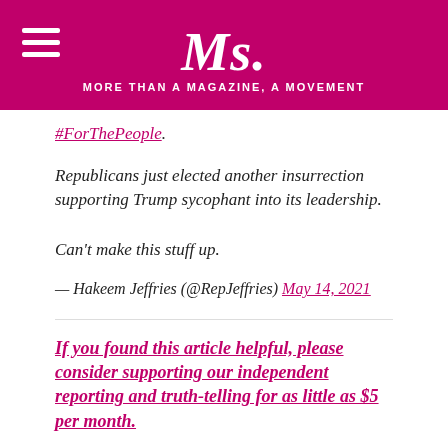Ms. MORE THAN A MAGAZINE, A MOVEMENT
#ForThePeople.
Republicans just elected another insurrection supporting Trump sycophant into its leadership.

Can't make this stuff up.
— Hakeem Jeffries (@RepJeffries) May 14, 2021
If you found this article helpful, please consider supporting our independent reporting and truth-telling for as little as $5 per month.